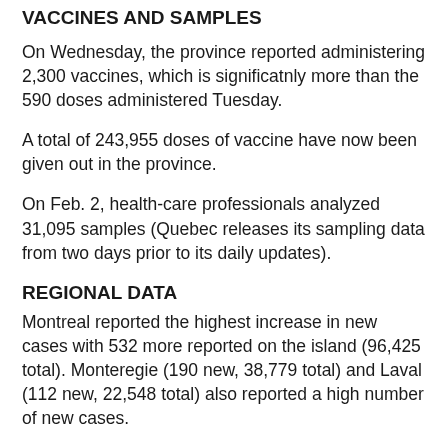VACCINES AND SAMPLES
On Wednesday, the province reported administering 2,300 vaccines, which is significatnly more than the 590 doses administered Tuesday.
A total of 243,955 doses of vaccine have now been given out in the province.
On Feb. 2, health-care professionals analyzed 31,095 samples (Quebec releases its sampling data from two days prior to its daily updates).
REGIONAL DATA
Montreal reported the highest increase in new cases with 532 more reported on the island (96,425 total). Monteregie (190 new, 38,779 total) and Laval (112 new, 22,548 total) also reported a high number of new cases.
Twelve deaths were reported in Monteregie (1,371 total); 11 in Montreal (4,351 total); six in Mauricie-et-Centre-du-